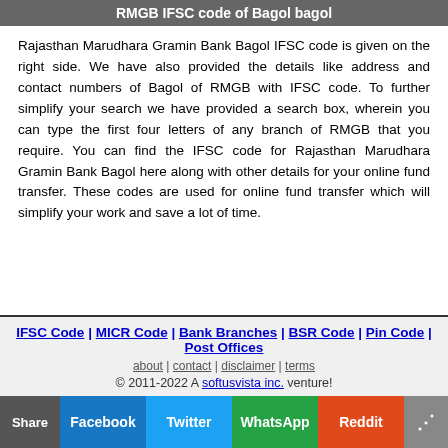RMGB IFSC code of Bagol bagol
Rajasthan Marudhara Gramin Bank Bagol IFSC code is given on the right side. We have also provided the details like address and contact numbers of Bagol of RMGB with IFSC code. To further simplify your search we have provided a search box, wherein you can type the first four letters of any branch of RMGB that you require. You can find the IFSC code for Rajasthan Marudhara Gramin Bank Bagol here along with other details for your online fund transfer. These codes are used for online fund transfer which will simplify your work and save a lot of time.
IFSC Code | MICR Code | Bank Branches | BSR Code | Pin Code | Post Offices
about | contact | disclaimer | terms
© 2011-2022 A softusvista inc. venture!